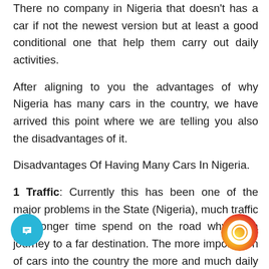There no company in Nigeria that doesn't has a car if not the newest version but at least a good conditional one that help them carry out daily activities.
After aligning to you the advantages of why Nigeria has many cars in the country, we have arrived this point where we are telling you also the disadvantages of it.
Disadvantages Of Having Many Cars In Nigeria.
1 Traffic: Currently this has been one of the major problems in the State (Nigeria), much traffic and longer time spend on the road why on a journey to a far destination. The more importation of cars into the country the more and much daily traffic we could be having.
2.Decreasing The Country Economy: His does much